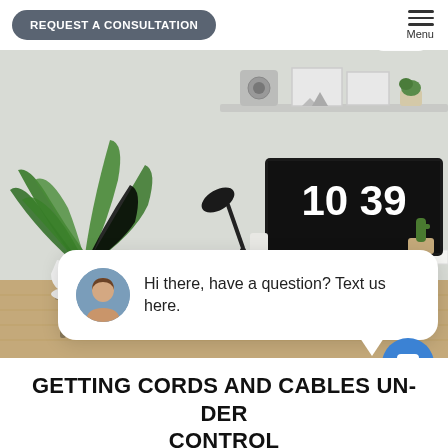REQUEST A CONSULTATION | Menu
[Figure (photo): Home office scene with a white desk, iMac displaying 10:39, a black desk lamp, a large green plant in a white pot on a stand, decorative items on a wall shelf, and a small cactus on the desk. A chat popup overlay shows a woman's avatar with the message 'Hi there, have a question? Text us here.' with a close button and a blue chat icon button.]
GETTING CORDS AND CABLES UNDER CONTROL